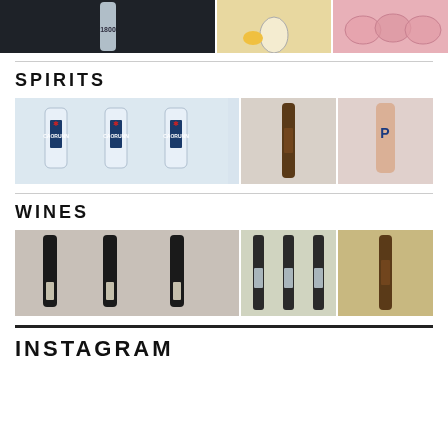[Figure (photo): Top strip: three product photos - 1800 tequila bottle, cocktail with lemon, pink cocktail drinks]
SPIRITS
[Figure (photo): Spirits section: three Caorunn gin bottles, dark spirits bottle, P-branded spirits bottle]
WINES
[Figure (photo): Wines section: three dark wine bottles, three white wine bottles, single dark spirits bottle]
INSTAGRAM